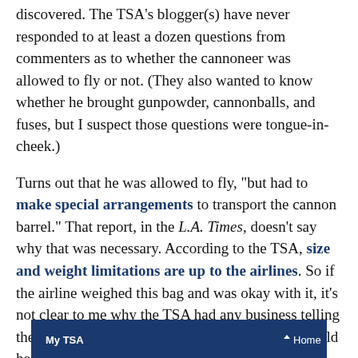discovered. The TSA's blogger(s) have never responded to at least a dozen questions from commenters as to whether the cannoneer was allowed to fly or not. (They also wanted to know whether he brought gunpowder, cannonballs, and fuses, but I suspect those questions were tongue-in-cheek.)
Turns out that he was allowed to fly, "but had to make special arrangements to transport the cannon barrel." That report, in the L.A. Times, doesn't say why that was necessary. According to the TSA, size and weight limitations are up to the airlines. So if the airline weighed this bag and was okay with it, it's not clear to me why the TSA had any business telling the guy how to transport his cannon. And why would he have thought there'd be a problem? Their can-I-bring-it search box doesn't say you can't:
[Figure (screenshot): Screenshot of My TSA website navigation bar with dark blue background showing 'My TSA' logo on left and 'Home' link on right]